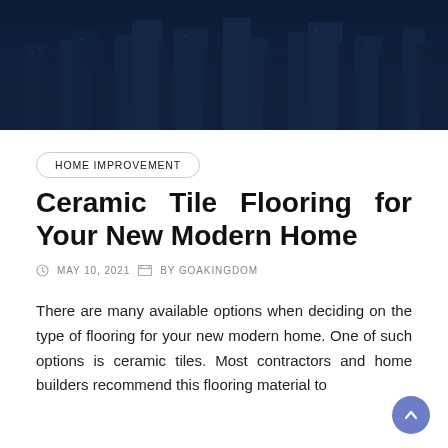[Figure (photo): Dark navy blue tinted cityscape/skyline hero image at the top of the page, showing skyscrapers and buildings with a dark overlay]
HOME IMPROVEMENT
Ceramic Tile Flooring for Your New Modern Home
MAY 10, 2021   BY GOAKINGDOM
There are many available options when deciding on the type of flooring for your new modern home. One of such options is ceramic tiles. Most contractors and home builders recommend this flooring material to